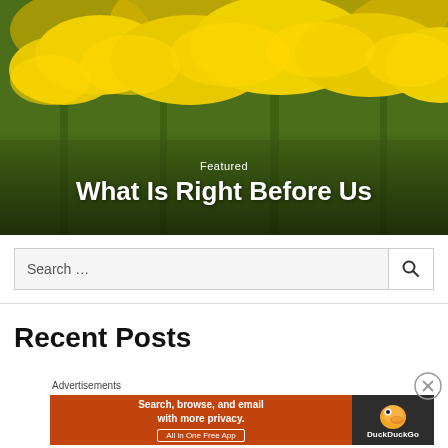[Figure (photo): Close-up photograph of bright yellow goldenrod flowers with green leaves and stems in background]
Featured
What Is Right Before Us
Search …
Recent Posts
Advertisements
[Figure (screenshot): DuckDuckGo advertisement banner: 'Search, browse, and email with more privacy. All in One Free App' in orange background with DuckDuckGo logo on dark background]